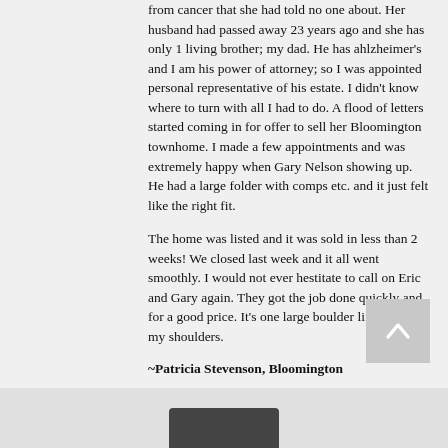from cancer that she had told no one about. Her husband had passed away 23 years ago and she has only 1 living brother; my dad. He has ahlzheimer's and I am his power of attorney; so I was appointed personal representative of his estate. I didn't know where to turn with all I had to do. A flood of letters started coming in for offer to sell her Bloomington townhome. I made a few appointments and was extremely happy when Gary Nelson showing up. He had a large folder with comps etc. and it just felt like the right fit.

The home was listed and it was sold in less than 2 weeks! We closed last week and it all went smoothly. I would not ever hestitate to call on Eric and Gary again. They got the job done quickly and for a good price. It's one large boulder lifted from my shoulders.
~Patricia Stevenson, Bloomington